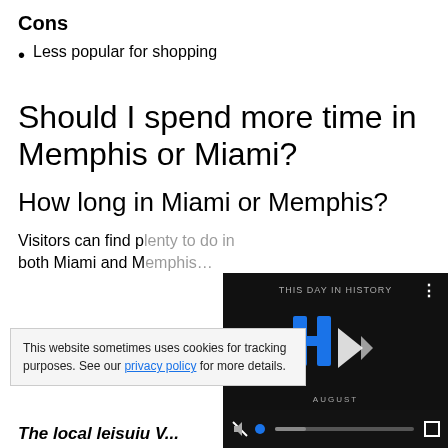Cons
Less popular for shopping
Should I spend more time in Memphis or Miami?
How long in Miami or Memphis?
Visitors can find plenty to do in both Miami and M…
This website sometimes uses cookies for tracking purposes. See our privacy policy for more details.
[Figure (screenshot): Embedded video player showing 'This Day in History' with play button, mute icon, progress bar with blue dot, and fullscreen button. Month label 'AUGUST' visible.]
The local leisuiу…